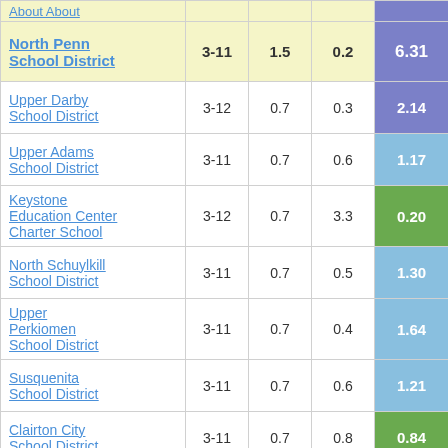| School District | Grades | Col3 | Col4 | Score |
| --- | --- | --- | --- | --- |
| (partial top row) |  |  |  |  |
| North Penn School District | 3-11 | 1.5 | 0.2 | 6.31 |
| Upper Darby School District | 3-12 | 0.7 | 0.3 | 2.14 |
| Upper Adams School District | 3-11 | 0.7 | 0.6 | 1.17 |
| Keystone Education Center Charter School | 3-12 | 0.7 | 3.3 | 0.20 |
| North Schuylkill School District | 3-11 | 0.7 | 0.5 | 1.30 |
| Upper Perkiomen School District | 3-11 | 0.7 | 0.4 | 1.64 |
| Susquenita School District | 3-11 | 0.7 | 0.6 | 1.21 |
| Clairton City School District | 3-11 | 0.7 | 0.8 | 0.84 |